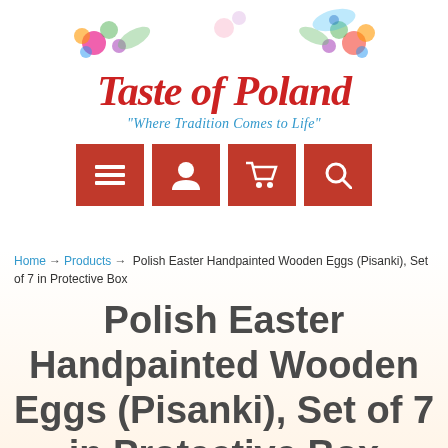[Figure (logo): Taste of Poland logo with colorful floral decorations and the tagline 'Where Tradition Comes to Life']
[Figure (infographic): Navigation bar with four red square buttons: hamburger menu, user account, shopping cart, and search icons]
Home → Products → Polish Easter Handpainted Wooden Eggs (Pisanki), Set of 7 in Protective Box
Polish Easter Handpainted Wooden Eggs (Pisanki), Set of 7 in Protective Box